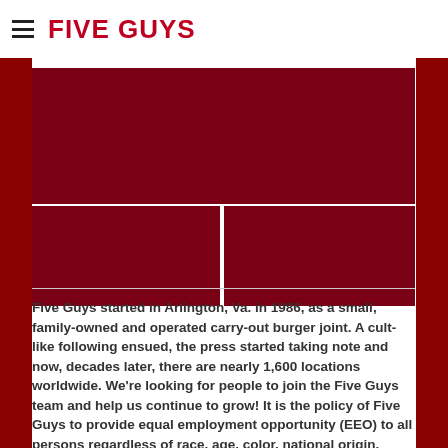FIVE GUYS
[Figure (photo): Three red-background photos showing Five Guys restaurant scenes: one large image on top and two smaller images side by side below]
Five Guys started in Arlington, Va. in 1986, as a small, family-owned and operated carry-out burger joint. A cult-like following ensued, the press started taking note and now, decades later, there are nearly 1,600 locations worldwide. We're looking for people to join the Five Guys team and help us continue to grow! It is the policy of Five Guys to provide equal employment opportunity (EEO) to all persons regardless of race, age, color, national origin,